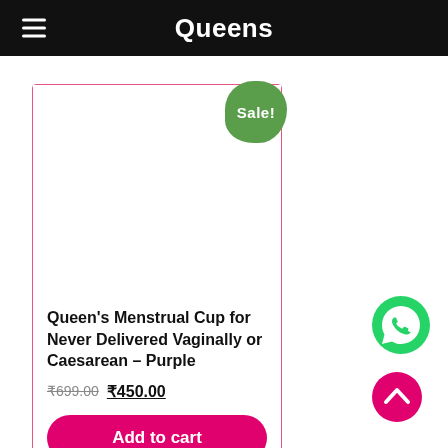Queens
[Figure (other): Product card for Queen's Menstrual Cup for Never Delivered Vaginally or Caesarean – Purple with a Sale! badge, showing blank product image area, old price ₹699.00 and new price ₹450.00, and Add to cart button]
[Figure (other): WhatsApp contact button – green circle with phone handset icon]
[Figure (other): Scroll-to-top button – pink/magenta circle with upward chevron]